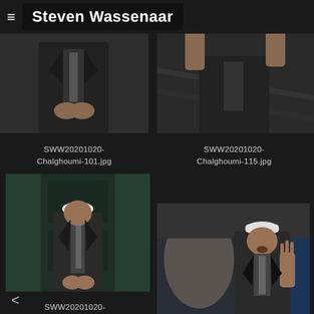Steven Wassenaar
[Figure (photo): Torso of a man in a dark suit, hands clasped, dark background]
[Figure (photo): Person in a suit gesturing with hands raised, dark background]
SWW20201020-
Chalghoumi-101.jpg
SWW20201020-
Chalghoumi-115.jpg
[Figure (photo): Man wearing white cap and dark suit standing in front of a dark door]
[Figure (photo): Man wearing white cap gesturing with right hand raised, seated or standing]
SWW20201020-
Chalghoumi-100.jpg
SWW20201020-
Chalghoumi-114.jpg